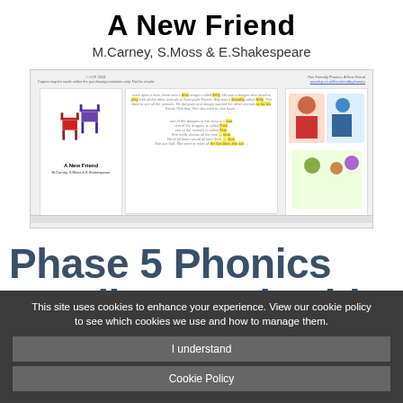A New Friend
M.Carney, S.Moss & E.Shakespeare
[Figure (screenshot): Preview of the book 'A New Friend' showing a multi-page spread with illustrated chairs, cartoon characters, and highlighted phonics text passages.]
Phase 5 Phonics Reading Book with Comprehension
This site uses cookies to enhance your experience. View our cookie policy to see which cookies we use and how to manage them.
I understand
Cookie Policy